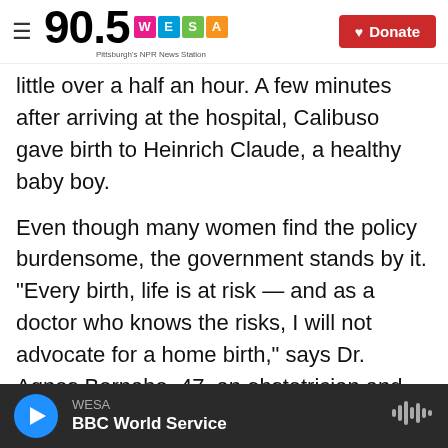90.5 WESA Pittsburgh's NPR News Station | Donate
little over a half an hour. A few minutes after arriving at the hospital, Calibuso gave birth to Heinrich Claude, a healthy baby boy.
Even though many women find the policy burdensome, the government stands by it. "Every birth, life is at risk — and as a doctor who knows the risks, I will not advocate for a home birth," says Dr. Agnes Bernabe, 47, an obstetrician and gynecologist. She works in a private clinic in Bambang and at Nueva Vizcaya Provincial Hospital and is a member of the committee that reviews maternal death in the province. "Home births and
WESA | BBC World Service